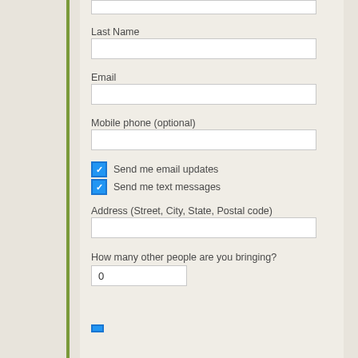Last Name
Email
Mobile phone (optional)
Send me email updates
Send me text messages
Address (Street, City, State, Postal code)
How many other people are you bringing?